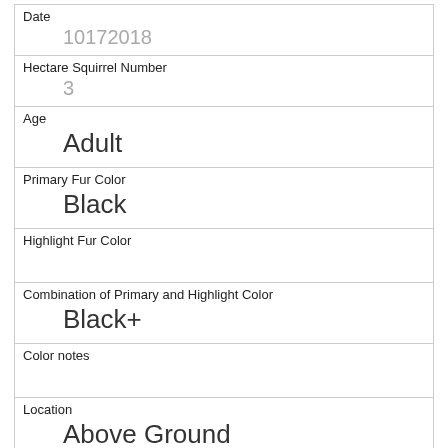| Date | 10172018 |
| Hectare Squirrel Number | 3 |
| Age | Adult |
| Primary Fur Color | Black |
| Highlight Fur Color |  |
| Combination of Primary and Highlight Color | Black+ |
| Color notes |  |
| Location | Above Ground |
| Above Ground Sighter Measurement | 17 |
| Specific Location | running across overpass |